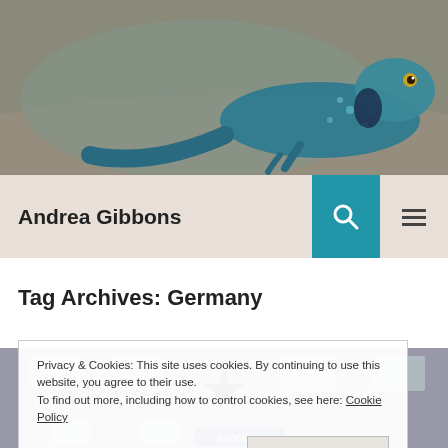[Figure (photo): Close-up photo of a blue-green lizard on a blurred brown background]
Andrea Gibbons
Tag Archives: Germany
[Figure (photo): Photo of a grey building facade with a dark star painted on it and windows visible]
Privacy & Cookies: This site uses cookies. By continuing to use this website, you agree to their use.
To find out more, including how to control cookies, see here: Cookie Policy
Close and accept